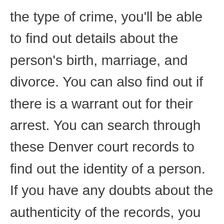the type of crime, you'll be able to find out details about the person's birth, marriage, and divorce. You can also find out if there is a warrant out for their arrest. You can search through these Denver court records to find out the identity of a person. If you have any doubts about the authenticity of the records, you can visit the Denver county court to request a copy of the records.
If you're looking for a Denver County Colorado criminal record, you can try searching for these records online. Additionally, you can also request a